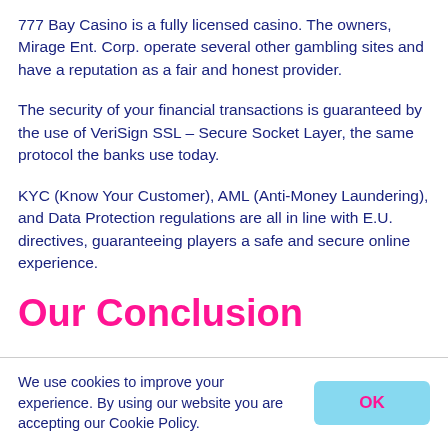777 Bay Casino is a fully licensed casino. The owners, Mirage Ent. Corp. operate several other gambling sites and have a reputation as a fair and honest provider.
The security of your financial transactions is guaranteed by the use of VeriSign SSL – Secure Socket Layer, the same protocol the banks use today.
KYC (Know Your Customer), AML (Anti-Money Laundering), and Data Protection regulations are all in line with E.U. directives, guaranteeing players a safe and secure online experience.
Our Conclusion
We use cookies to improve your experience. By using our website you are accepting our Cookie Policy.